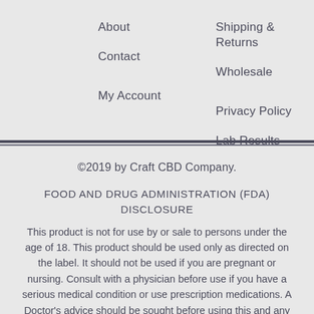About
Contact
My Account
Shipping & Returns
Wholesale
Privacy Policy
Lab Results
Terms & Conditions
©2019 by Craft CBD Company.
FOOD AND DRUG ADMINISTRATION (FDA) DISCLOSURE
This product is not for use by or sale to persons under the age of 18. This product should be used only as directed on the label. It should not be used if you are pregnant or nursing. Consult with a physician before use if you have a serious medical condition or use prescription medications. A Doctor's advice should be sought before using this and any supplemental dietary